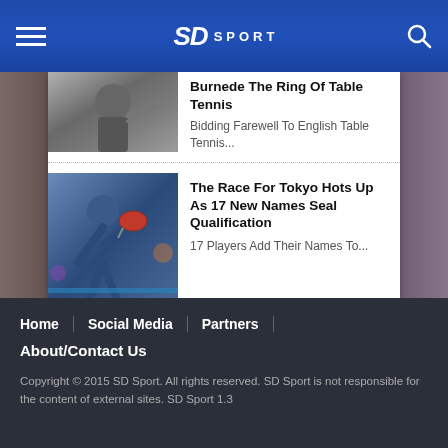SD Sport
[Figure (photo): Partial black and white photo of a table tennis player at top]
Burnede The Ring Of Table Tennis
Bidding Farewell To English Table Tennis...
[Figure (photo): Female table tennis player in blue uniform mid-action at table tennis match]
The Race For Tokyo Hots Up As 17 New Names Seal Qualification
17 Players Add Their Names To...
[Figure (photo): Young Japanese female table tennis player in orange/black uniform hitting ball]
Success For Japanese Teenage Duo At WTT Star Contender Doha 2021!
Mima Ito And Tomokazu Harimoto Win...
Home | Social Media | Partners | About/Contact Us
Copyright © 2015 SD Sport. All rights reserved. SD Sport is not responsible for the content of external sites. SD Sport 1.3